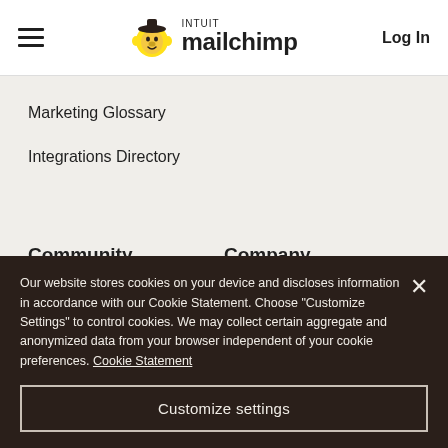[Figure (logo): Intuit Mailchimp logo with monkey icon]
Log In
Marketing Glossary
Integrations Directory
Community
Company
Agencies & Freelancers
Our Story
Developers
Newsroom
Our website stores cookies on your device and discloses information in accordance with our Cookie Statement. Choose "Customize Settings" to control cookies. We may collect certain aggregate and anonymized data from your browser independent of your cookie preferences. Cookie Statement
Customize settings